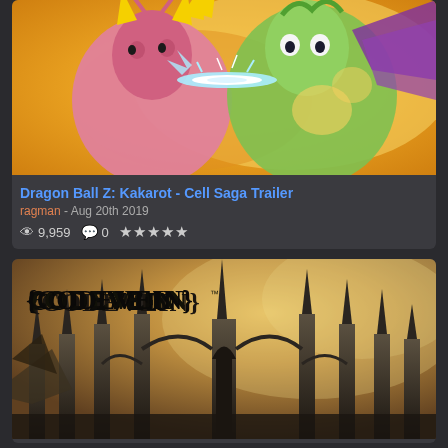[Figure (screenshot): Dragon Ball Z: Kakarot game screenshot showing two anime characters fighting face-to-face with energy beam between them]
Dragon Ball Z: Kakarot - Cell Saga Trailer
ragman - Aug 20th 2019
9,959 views, 0 comments, 5 star rating
[Figure (screenshot): Code Vein game promotional image showing gothic cathedral architecture with the Code Vein logo in the upper left]